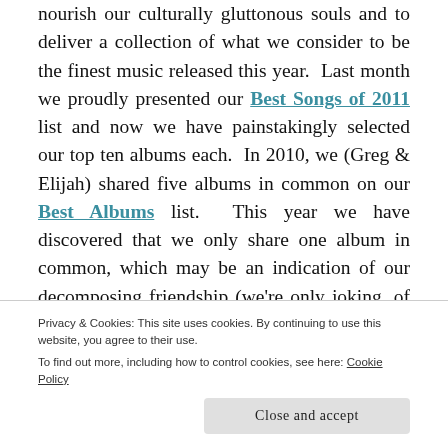nourish our culturally gluttonous souls and to deliver a collection of what we consider to be the finest music released this year. Last month we proudly presented our Best Songs of 2011 list and now we have painstakingly selected our top ten albums each. In 2010, we (Greg & Elijah) shared five albums in common on our Best Albums list. This year we have discovered that we only share one album in common, which may be an indication of our decomposing friendship (we're only joking, of course!), but this means that while last year we shared 15 'best' albums between the two of us, this year we are presenting you with a 19-album
Privacy & Cookies: This site uses cookies. By continuing to use this website, you agree to their use.
To find out more, including how to control cookies, see here: Cookie Policy